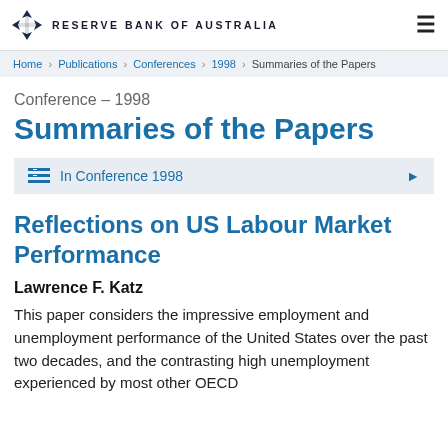RESERVE BANK OF AUSTRALIA
Home › Publications › Conferences › 1998 › Summaries of the Papers
Conference – 1998
Summaries of the Papers
In Conference 1998
Reflections on US Labour Market Performance
Lawrence F. Katz
This paper considers the impressive employment and unemployment performance of the United States over the past two decades, and the contrasting high unemployment experienced by most other OECD